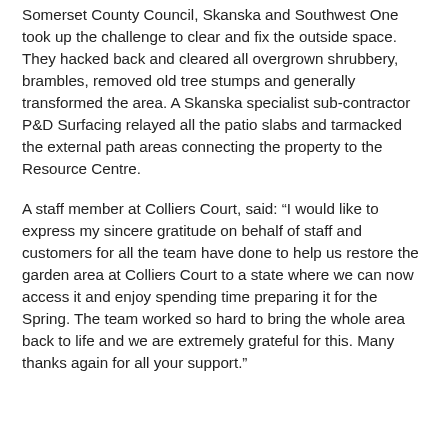Somerset County Council, Skanska and Southwest One took up the challenge to clear and fix the outside space. They hacked back and cleared all overgrown shrubbery, brambles, removed old tree stumps and generally transformed the area. A Skanska specialist sub-contractor P&D Surfacing relayed all the patio slabs and tarmacked the external path areas connecting the property to the Resource Centre.
A staff member at Colliers Court, said: “I would like to express my sincere gratitude on behalf of staff and customers for all the team have done to help us restore the garden area at Colliers Court to a state where we can now access it and enjoy spending time preparing it for the Spring. The team worked so hard to bring the whole area back to life and we are extremely grateful for this. Many thanks again for all your support.”